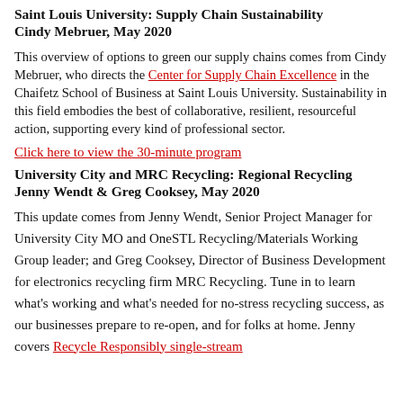Saint Louis University: Supply Chain Sustainability Cindy Mebruer, May 2020
This overview of options to green our supply chains comes from Cindy Mebruer, who directs the Center for Supply Chain Excellence in the Chaifetz School of Business at Saint Louis University. Sustainability in this field embodies the best of collaborative, resilient, resourceful action, supporting every kind of professional sector.
Click here to view the 30-minute program
University City and MRC Recycling: Regional Recycling Jenny Wendt & Greg Cooksey, May 2020
This update comes from Jenny Wendt, Senior Project Manager for University City MO and OneSTL Recycling/Materials Working Group leader; and Greg Cooksey, Director of Business Development for electronics recycling firm MRC Recycling. Tune in to learn what's working and what's needed for no-stress recycling success, as our businesses prepare to re-open, and for folks at home. Jenny covers Recycle Responsibly single-stream